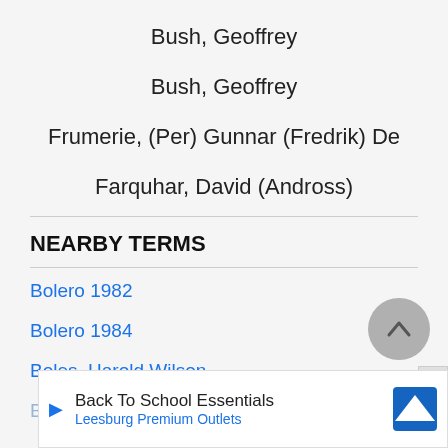Bush, Geoffrey
Bush, Geoffrey
Frumerie, (Per) Gunnar (Fredrik) De
Farquhar, David (Andross)
NEARBY TERMS
Bolero 1982
Bolero 1984
Boles, Harold Wilson
Boles,
Back To School Essentials
Leesburg Premium Outlets